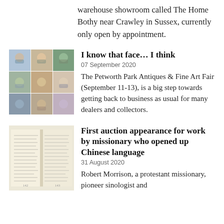warehouse showroom called The Home Bothy near Crawley in Sussex, currently only open by appointment.
I know that face… I think
07 September 2020
The Petworth Park Antiques & Fine Art Fair (September 11-13), is a big step towards getting back to business as usual for many dealers and collectors.
First auction appearance for work by missionary who opened up Chinese language
31 August 2020
Robert Morrison, a protestant missionary, pioneer sinologist and